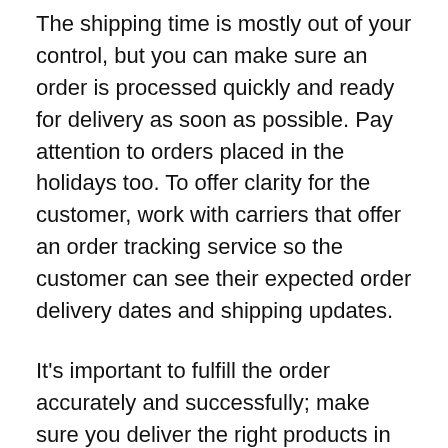The shipping time is mostly out of your control, but you can make sure an order is processed quickly and ready for delivery as soon as possible. Pay attention to orders placed in the holidays too. To offer clarity for the customer, work with carriers that offer an order tracking service so the customer can see their expected order delivery dates and shipping updates.
It's important to fulfill the order accurately and successfully; make sure you deliver the right products in the right quantities every time; otherwise, you will lose repeat orders.
Remember that you need to offer a returns process, and this also needs to be of a high standard. An easy to follow and efficient returns process will leave an excellent